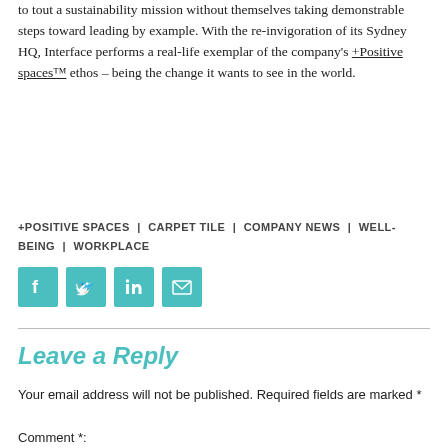to tout a sustainability mission without themselves taking demonstrable steps toward leading by example. With the re-invigoration of its Sydney HQ, Interface performs a real-life exemplar of the company's +Positive spaces™ ethos – being the change it wants to see in the world.
+POSITIVE SPACES  |  CARPET TILE  |  COMPANY NEWS  |  WELL-BEING  |  WORKPLACE
[Figure (other): Social media sharing icons: Facebook, Twitter, LinkedIn, Email]
Leave a Reply
Your email address will not be published. Required fields are marked *
Comment *: